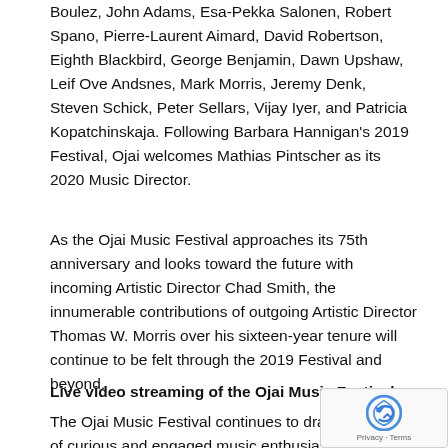Boulez, John Adams, Esa-Pekka Salonen, Robert Spano, Pierre-Laurent Aimard, David Robertson, Eighth Blackbird, George Benjamin, Dawn Upshaw, Leif Ove Andsnes, Mark Morris, Jeremy Denk, Steven Schick, Peter Sellars, Vijay Iyer, and Patricia Kopatchinskaja. Following Barbara Hannigan's 2019 Festival, Ojai welcomes Mathias Pintscher as its 2020 Music Director.
As the Ojai Music Festival approaches its 75th anniversary and looks toward the future with incoming Artistic Director Chad Smith, the innumerable contributions of outgoing Artistic Director Thomas W. Morris over his sixteen-year tenure will continue to be felt through the 2019 Festival and beyond.
Live video streaming of the Ojai Music Festival
The Ojai Music Festival continues to draw thousands of curious and engaged music enthusiasts from across the country. Ojai includes free access to the Festival
[Figure (other): reCAPTCHA widget overlay in bottom-right corner showing logo and Privacy·Terms text]